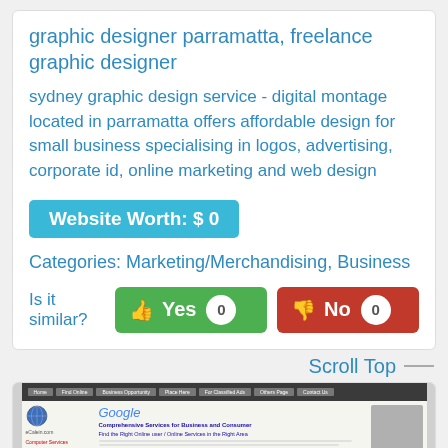graphic designer parramatta, freelance graphic designer
sydney graphic design service - digital montage located in parramatta offers affordable design for small business specialising in logos, advertising, corporate id, online marketing and web design
Website Worth: $ 0
Categories: Marketing/Merchandising, Business
Is it similar?  Yes 0  No 0
Scroll Top
[Figure (screenshot): Screenshot of a website showing a Google search result page with navigation menu on left side, globe logo, and website content about comprehensive services for business and consumer]